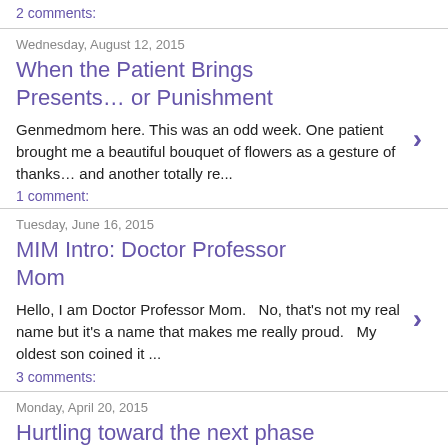2 comments:
Wednesday, August 12, 2015
When the Patient Brings Presents… or Punishment
Genmedmom here. This was an odd week. One patient brought me a beautiful bouquet of flowers as a gesture of thanks… and another totally re...
1 comment:
Tuesday, June 16, 2015
MIM Intro: Doctor Professor Mom
Hello, I am Doctor Professor Mom.   No, that's not my real name but it's a name that makes me really proud.   My oldest son coined it ...
3 comments:
Monday, April 20, 2015
Hurtling toward the next phase
I have searched but I cannot find the flying trapeze story I read a few